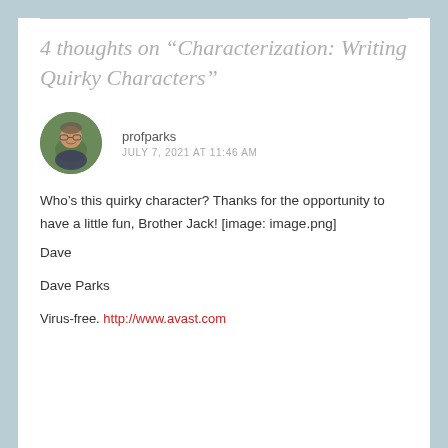4 thoughts on “Characterization: Writing Quirky Characters”
[Figure (photo): Circular avatar photo of a middle-aged man with glasses, smiling, wearing a dark shirt, outdoors with green foliage background]
profparks
JULY 7, 2021 AT 11:46 AM
Who’s this quirky character? Thanks for the opportunity to have a little fun, Brother Jack! [image: image.png]
Dave
Dave Parks
Virus-free. http://www.avast.com